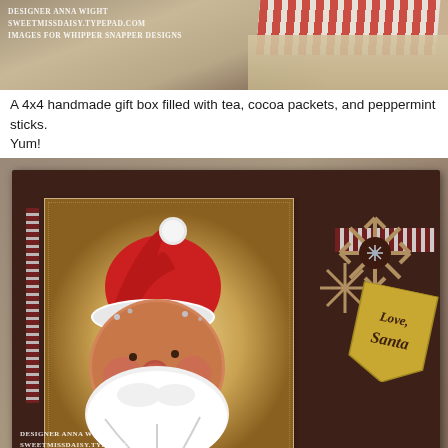[Figure (photo): Top photo showing a handmade gift box with striped ribbon and packaging, watermarked with Designer Anna Wight, SweetMissDaisy.Typepad.com, Images for Whipper Snapper Designs]
A 4x4 handmade gift box filled with tea, cocoa packets, and peppermint sticks. Yum!
[Figure (photo): A handmade Christmas card featuring a Santa Claus face illustration on aged/distressed cream paper, mounted on dark brown card stock with a checkered ribbon, snowflake embellishments, a decorative button, and a gold banner tag reading 'Love, Santa'. Watermarked with Designer Anna Wight, SweetMissDaisy.Typepad.com, Images for High Hopes & Whipper Snapper.]